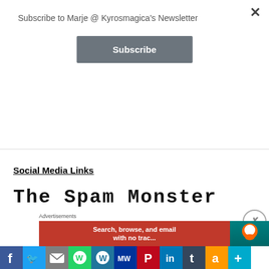Subscribe to Marje @ Kyrosmagica's Newsletter
Subscribe
[Figure (photo): Advertisement image strip showing colorful book covers or magazine pages with geometric diamond shapes in teal, green, and orange tones]
REPORT THIS AD
Social Media Links
The Spam Monster
Advertisements
[Figure (screenshot): Bottom advertisement banner with red background showing 'Search, browse, and email' text, and a teal DuckDuckGo ad section]
[Figure (screenshot): Social media share bar with Facebook, Twitter, Email, WhatsApp, WordPress, MeWe, Pinterest, LinkedIn, Tumblr, Amazon and More buttons]